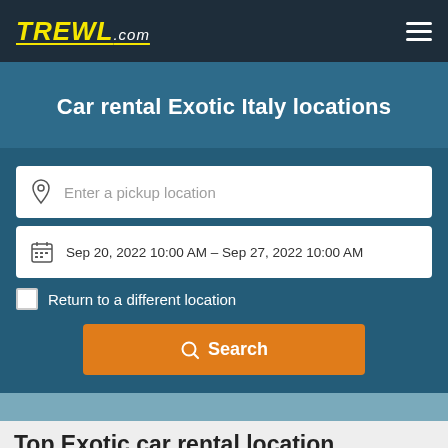TREWL.com
Car rental Exotic Italy locations
Enter a pickup location
Sep 20, 2022 10:00 AM – Sep 27, 2022 10:00 AM
Return to a different location
Search
Top Exotic car rental location